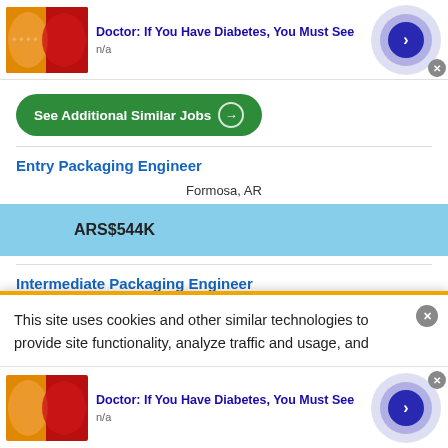[Figure (screenshot): Advertisement banner: candy/gummy image with title 'Doctor: If You Have Diabetes, You Must See', subtitle 'n/a', and a blue arrow button]
See Additional Similar Jobs →
Entry Packaging Engineer
Formosa, AR
ARS$544K
Intermediate Packaging Engineer
This site uses cookies and other similar technologies to provide site functionality, analyze traffic and usage, and
[Figure (screenshot): Advertisement banner (bottom): candy/gummy image with title 'Doctor: If You Have Diabetes, You Must See', subtitle 'n/a', and a blue arrow button]